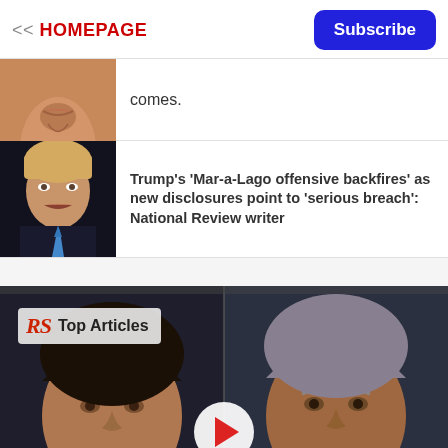<< HOMEPAGE | Subscribe
[Figure (photo): Close-up partial face photo, cropped at top — chin and lower face visible]
comes.
[Figure (photo): Photo of Donald Trump in dark suit with blue tie, speaking at podium, dark background]
Trump's 'Mar-a-Lago offensive backfires' as new disclosures point to 'serious breach': National Review writer
[Figure (photo): Video thumbnail showing two faces side by side with RS Top Articles logo overlay and play button]
Top Articles